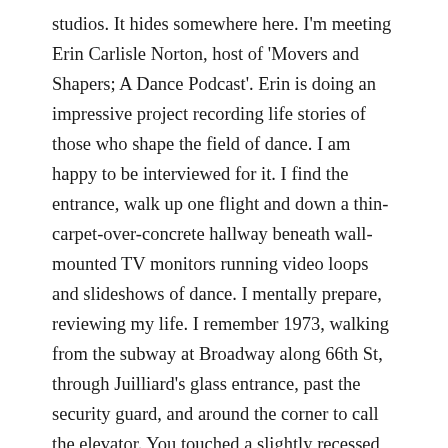studios. It hides somewhere here. I'm meeting Erin Carlisle Norton, host of 'Movers and Shapers; A Dance Podcast'. Erin is doing an impressive project recording life stories of those who shape the field of dance. I am happy to be interviewed for it. I find the entrance, walk up one flight and down a thin-carpet-over-concrete hallway beneath wall-mounted TV monitors running video loops and slideshows of dance. I mentally prepare, reviewing my life. I remember 1973, walking from the subway at Broadway along 66th St, through Juilliard's glass entrance, past the security guard, and around the corner to call the elevator. You touched a slightly recessed, lit circle.  It was my first touch sensitive technology. I had to take off my glove because it registered heat rather than pressure, which I